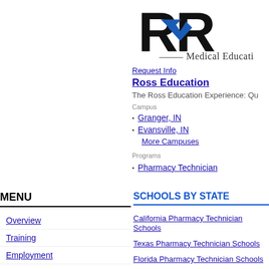[Figure (logo): Ross Medical Education logo — black letters RR with blue arrow, text 'Medical Educati...' below]
Request Info
Ross Education
The Ross Education Experience: Qu…
Campus
Granger, IN
Evansville, IN
More Campuses
Programs
Pharmacy Technician
MENU
Overview
Training
Employment
Outlook
About
SCHOOLS BY STATE
California Pharmacy Technician Schools
Texas Pharmacy Technician Schools
Florida Pharmacy Technician Schools
New York Pharmacy Technician